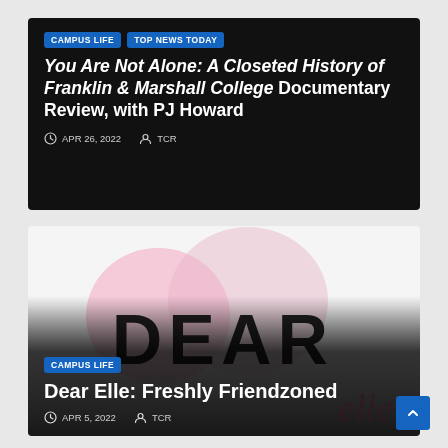CAMPUS LIFE | TOP NEWS TODAY
You Are Not Alone: A Closeted History of Franklin & Marshall College Documentary Review, with PJ Howard
APR 26, 2022  TCR
[Figure (illustration): Dear Elle column artwork with large black serif DEAR text over pink heart shapes on white/gray background, with cursive 'elle' text overlay in pink]
CAMPUS LIFE
Dear Elle: Freshly Friendzoned
APR 5, 2022  TCR